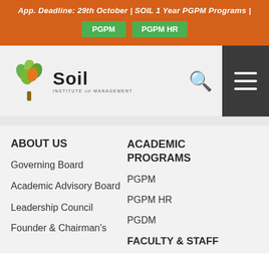App. Deadline: 29th October | SOIL 1 Year PGPM Programs | PGPM  PGPM HR
[Figure (logo): SOIL Institute of Management logo with tree icon made of green and orange leaves]
ABOUT US
Governing Board
Academic Advisory Board
Leadership Council
Founder & Chairman's
ACADEMIC PROGRAMS
PGPM
PGPM HR
PGDM
FACULTY & STAFF